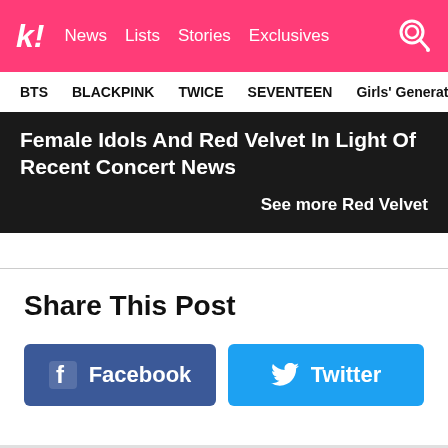k! News Lists Stories Exclusives
BTS  BLACKPINK  TWICE  SEVENTEEN  Girls' Generation
Female Idols And Red Velvet In Light Of Recent Concert News
See more Red Velvet
Share This Post
Facebook
Twitter